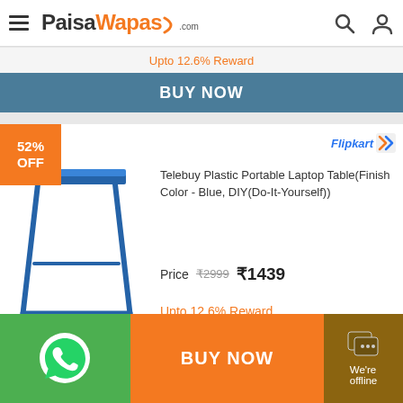PaisaWapas.com
Upto 12.6% Reward
BUY NOW
[Figure (photo): Telebuy Plastic Portable Laptop Table in Blue color with foldable legs]
Telebuy Plastic Portable Laptop Table(Finish Color - Blue, DIY(Do-It-Yourself))
Price  ₹2999  ₹1439
Upto 12.6% Reward
BUY NOW
BUY NOW
We're offline